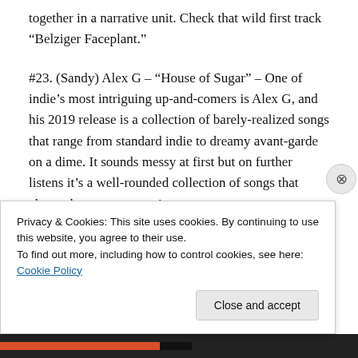together in a narrative unit. Check that wild first track “Belziger Faceplant.”
#23. (Sandy) Alex G – “House of Sugar” – One of indie’s most intriguing up-and-comers is Alex G, and his 2019 release is a collection of barely-realized songs that range from standard indie to dreamy avant-garde on a dime. It sounds messy at first but on further listens it’s a well-rounded collection of songs that always keeps you guessing.
#22. Foals – “Part 1: Everything Not Saved Will Be Lost”
Privacy & Cookies: This site uses cookies. By continuing to use this website, you agree to their use.
To find out more, including how to control cookies, see here: Cookie Policy